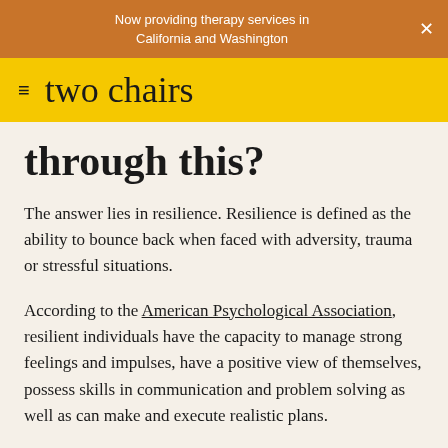Now providing therapy services in California and Washington
two chairs
through this?
The answer lies in resilience. Resilience is defined as the ability to bounce back when faced with adversity, trauma or stressful situations.
According to the American Psychological Association, resilient individuals have the capacity to manage strong feelings and impulses, have a positive view of themselves, possess skills in communication and problem solving as well as can make and execute realistic plans.